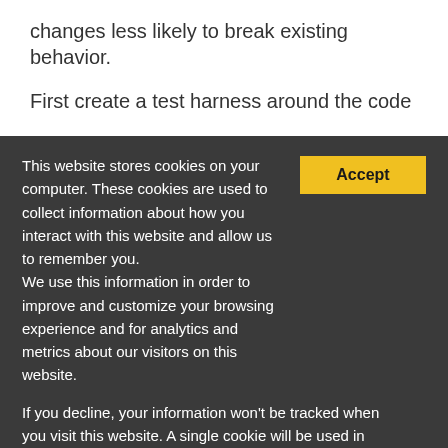changes less likely to break existing behavior.
First create a test harness around the code
This website stores cookies on your computer. These cookies are used to collect information about how you interact with this website and allow us to remember you.
We use this information in order to improve and customize your browsing experience and for analytics and metrics about our visitors on this website.
If you decline, your information won't be tracked when you visit this website. A single cookie will be used in your browser to remember your preference not to be tracked.